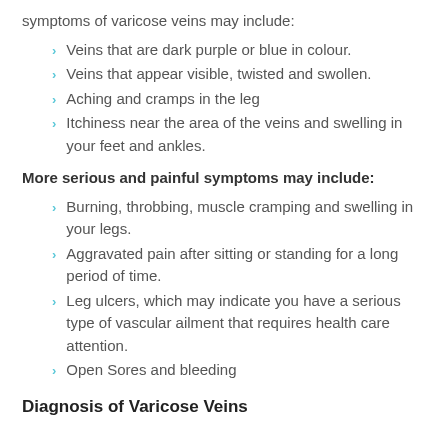symptoms of varicose veins may include:
Veins that are dark purple or blue in colour.
Veins that appear visible, twisted and swollen.
Aching and cramps in the leg
Itchiness near the area of the veins and swelling in your feet and ankles.
More serious and painful symptoms may include:
Burning, throbbing, muscle cramping and swelling in your legs.
Aggravated pain after sitting or standing for a long period of time.
Leg ulcers, which may indicate you have a serious type of vascular ailment that requires health care attention.
Open Sores and bleeding
Diagnosis of Varicose Veins